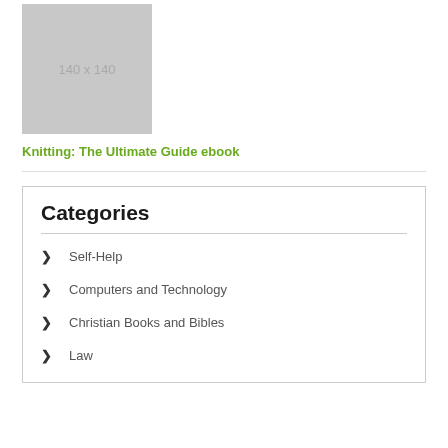[Figure (illustration): Placeholder image box showing '140 x 140' text in gray on a gray background, representing a book cover thumbnail]
Knitting: The Ultimate Guide ebook
Categories
Self-Help
Computers and Technology
Christian Books and Bibles
Law